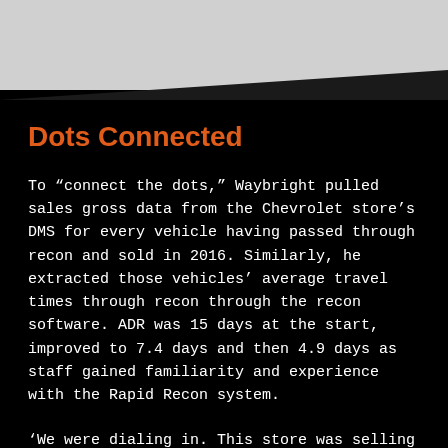Dots Connected
To “connect the dots,” Waybright pulled sales gross data from the Chevrolet store’s DMS for every vehicle having passed through recon and sold in 2016. Similarly, he extracted those vehicles’ average travel times through recon through the recon software. ADR was 15 days at the start, improved to 7.4 days and then 4.9 days as staff gained familiarity and experience with the Rapid Recon system.
‘We were dialing in. This store was selling around 70 used cars, but last month they sold 170 units at 4.8 days ADR and never